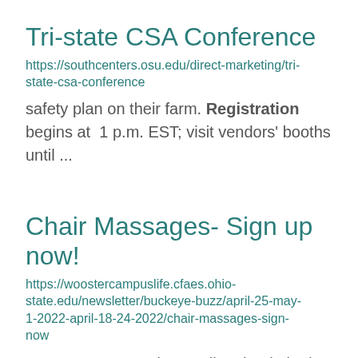Tri-state CSA Conference
https://southcenters.osu.edu/direct-marketing/tri-state-csa-conference
safety plan on their farm. Registration begins at 1 p.m. EST; visit vendors' booths until ...
Chair Massages- Sign up now!
https://woostercampuslife.cfaes.ohio-state.edu/newsletter/buckeye-buzz/april-25-may-1-2022-april-18-24-2022/chair-massages-sign-now
massage on Tuesday, April 26th. Limited to 20 students!  Sign up at go.osu.edu/ChairMassage ...